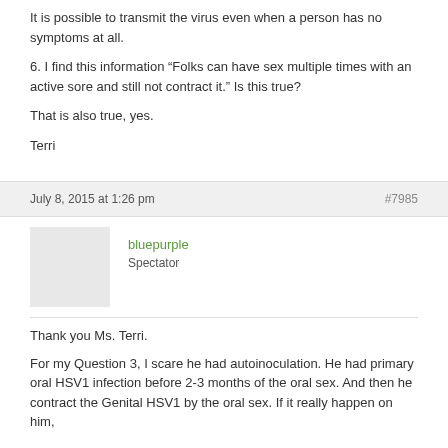It is possible to transmit the virus even when a person has no symptoms at all.
6. I find this information “Folks can have sex multiple times with an active sore and still not contract it.” Is this true?
That is also true, yes.
Terri
July 8, 2015 at 1:26 pm   #7985
bluepurple
Spectator
Thank you Ms. Terri.
For my Question 3, I scare he had autoinoculation. He had primary oral HSV1 infection before 2-3 months of the oral sex. And then he contract the Genital HSV1 by the oral sex. If it really happen on him,